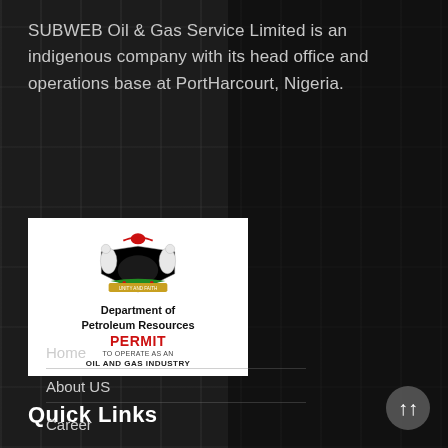SUBWEB Oil & Gas Service Limited is an indigenous company with its head office and operations base at PortHarcourt, Nigeria.
[Figure (logo): Department of Petroleum Resources PERMIT to operate as an OIL AND GAS INDUSTRY logo with Nigerian coat of arms]
Quick Links
Home
About US
Career